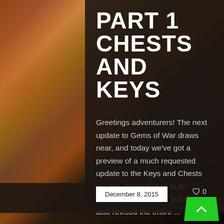[Figure (illustration): Fantasy game artwork background showing a dark landscape with a castle tower on the right, bare trees on the left, dramatic orange-red sunset sky, and a silhouetted wolf or large animal in the lower right.]
PART 4 CHESTS AND KEYS
Greetings adventurers! The next update to Gems of War draws near, and today we've got a preview of a much requested update to the Keys and Chests system. Not only has bulk-opening been added, but we've also revised the entire ...
December 8, 2015   ♡ 0